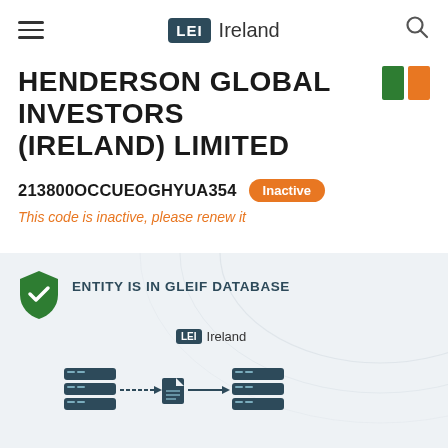LEI Ireland
HENDERSON GLOBAL INVESTORS (IRELAND) LIMITED
213800OCCUEOGHYUA354 Inactive
This code is inactive, please renew it
[Figure (infographic): GLEIF database verification panel showing shield checkmark icon, text ENTITY IS IN GLEIF DATABASE, LEI Ireland logo, and server/database flow diagram with arrows]